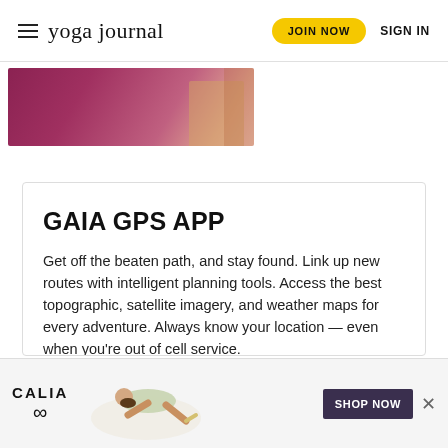yoga journal | JOIN NOW | SIGN IN
[Figure (photo): Partial thumbnail image showing a person on a purple/pink yoga mat]
GAIA GPS APP
Get off the beaten path, and stay found. Link up new routes with intelligent planning tools. Access the best topographic, satellite imagery, and weather maps for every adventure. Always know your location — even when you're out of cell service.
[Figure (other): Yellow rounded button with text DOWNLOAD APP]
[Figure (other): Bottom advertisement banner for CALIA brand showing a woman doing yoga with SHOP NOW button and close X]